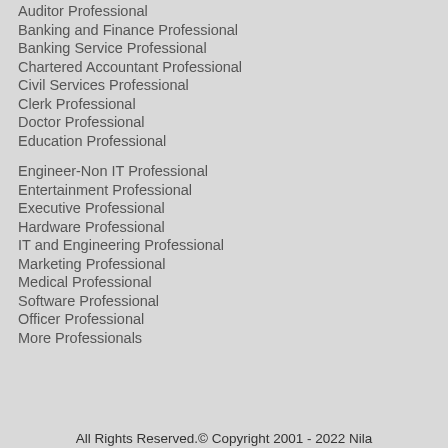Auditor Professional
Banking and Finance Professional
Banking Service Professional
Chartered Accountant Professional
Civil Services Professional
Clerk Professional
Doctor Professional
Education Professional
Engineer-Non IT Professional
Entertainment Professional
Executive Professional
Hardware Professional
IT and Engineering Professional
Marketing Professional
Medical Professional
Software Professional
Officer Professional
More Professionals
All Rights Reserved.© Copyright 2001 - 2022 Nila